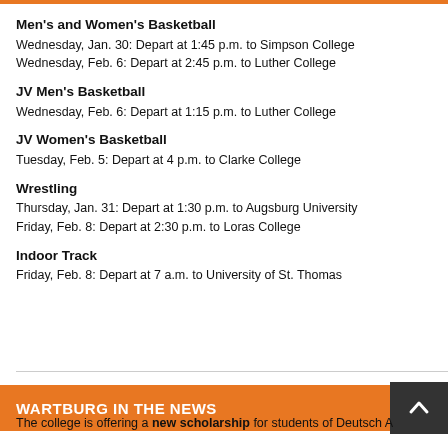Men's and Women's Basketball
Wednesday, Jan. 30: Depart at 1:45 p.m. to Simpson College
Wednesday, Feb. 6: Depart at 2:45 p.m. to Luther College
JV Men's Basketball
Wednesday, Feb. 6: Depart at 1:15 p.m. to Luther College
JV Women's Basketball
Tuesday, Feb. 5: Depart at 4 p.m. to Clarke College
Wrestling
Thursday, Jan. 31: Depart at 1:30 p.m. to Augsburg University
Friday, Feb. 8: Depart at 2:30 p.m. to Loras College
Indoor Track
Friday, Feb. 8: Depart at 7 a.m. to University of St. Thomas
WARTBURG IN THE NEWS
The college is offering a new scholarship for students of Deutsch A